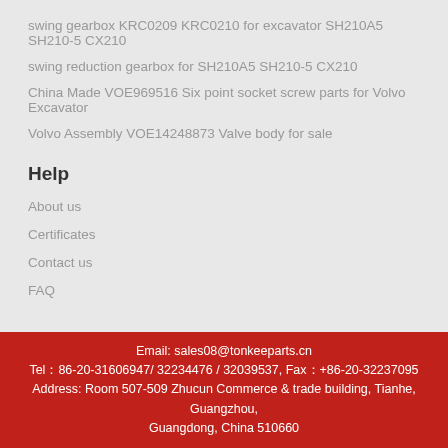swing gearbox KRC0209 KRC0210 for excavator SH210A5 SH210-5 CX210
swing reduction gearbox for SH210A5 SH210-5 CX210
China Made VOE969516 Six point socket screw parts for Volvo Excavator
Volvo Assembly VOE14248873 Valve body for sale
Help
About us
Certificates
Contact us
FAQ
Email: sales08@tonkeeparts.cn
Tel：86-20-31606947/ 32234476 / 32039537, Fax：+86-20-32237095
Address: Room 507-509 Zhucun Commerce & trade building, Tianhe, Guangzhou, Guangdong, China 510660